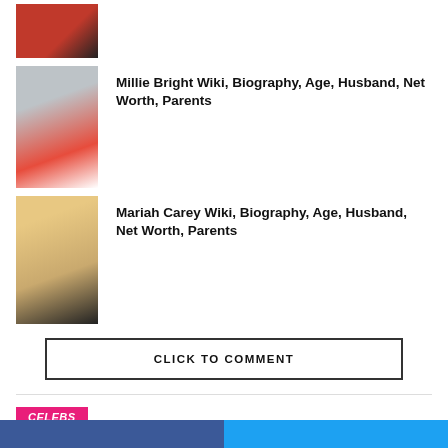[Figure (photo): Partially visible thumbnail of a soccer player in red and black jersey]
[Figure (photo): Millie Bright in white soccer kit holding a ball]
Millie Bright Wiki, Biography, Age, Husband, Net Worth, Parents
[Figure (photo): Mariah Carey in black outfit at an event]
Mariah Carey Wiki, Biography, Age, Husband, Net Worth, Parents
CLICK TO COMMENT
CELEBS
Kelsea Ballerini Wiki, Biography, Age, Husband, Net Worth, Parents